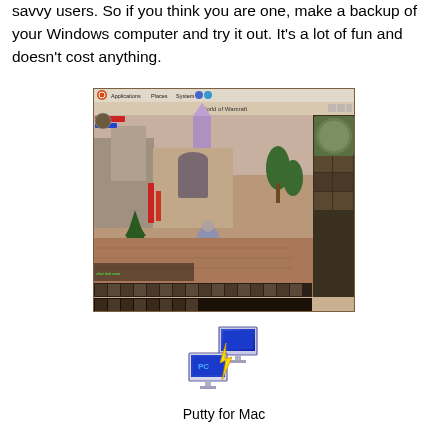savvy users. So if you think you are one, make a backup of your Windows computer and try it out. It's a lot of fun and doesn't cost anything.
[Figure (screenshot): Screenshot of World of Warcraft running on Ubuntu Linux with the Ubuntu Applications/Places/System menu bar visible at the top.]
[Figure (illustration): Icon of two computers connected by a lightning bolt, representing PuTTY for Mac network/SSH application.]
Putty for Mac